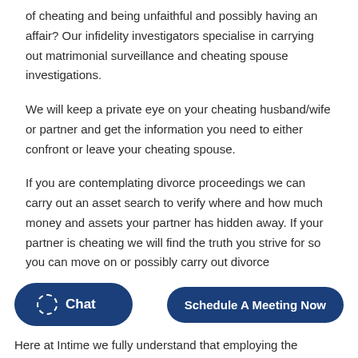of cheating and being unfaithful and possibly having an affair? Our infidelity investigators specialise in carrying out matrimonial surveillance and cheating spouse investigations.
We will keep a private eye on your cheating husband/wife or partner and get the information you need to either confront or leave your cheating spouse.
If you are contemplating divorce proceedings we can carry out an asset search to verify where and how much money and assets your partner has hidden away. If your partner is cheating we will find the truth you strive for so you can move on or possibly carry out divorce
Chat
Schedule A Meeting Now
Here at Intime we fully understand that employing the